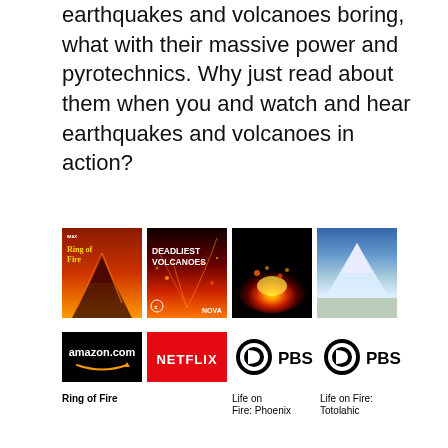earthquakes and volcanoes boring, what with their massive power and pyrotechnics. Why just read about them when you and watch and hear earthquakes and volcanoes in action?
[Figure (photo): Four documentary/show thumbnails in a row: Ring of Fire (IMAX), Deadliest Volcanoes (NOVA), lava close-up, snowy volcano aerial]
[Figure (logo): Amazon.com logo (black background, white text, orange arrow)]
[Figure (logo): Netflix logo (red background, white NETFLIX text)]
[Figure (logo): PBS logo with circle icon and PBS text]
[Figure (logo): PBS logo with circle icon and PBS text (second)]
Ring of Fire
Life on Fire: Phoenix
Life on Fire: Totolahic